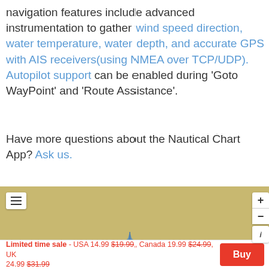navigation features include advanced instrumentation to gather wind speed direction, water temperature, water depth, and accurate GPS with AIS receivers(using NMEA over TCP/UDP). Autopilot support can be enabled during 'Goto WayPoint' and 'Route Assistance'.
Have more questions about the Nautical Chart App? Ask us.
[Figure (screenshot): Nautical chart map screenshot showing a tan/sandy-colored map area with a hamburger menu icon top-left, zoom in/out buttons top-right, an info button, and a small blue boat icon near the bottom center.]
Limited time sale - USA 14.99 $19.99, Canada 19.99 $24.99, UK 24.99 $31.99